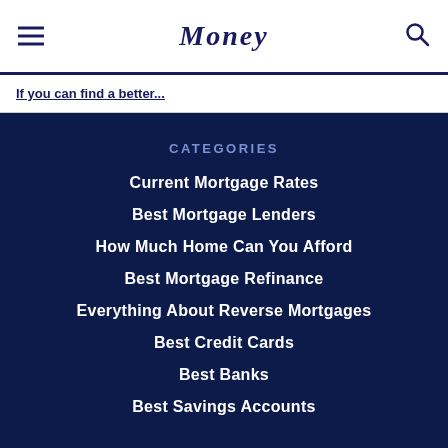Money
If you can find a better...
CATEGORIES
Current Mortgage Rates
Best Mortgage Lenders
How Much Home Can You Afford
Best Mortgage Refinance
Everything About Reverse Mortgages
Best Credit Cards
Best Banks
Best Savings Accounts